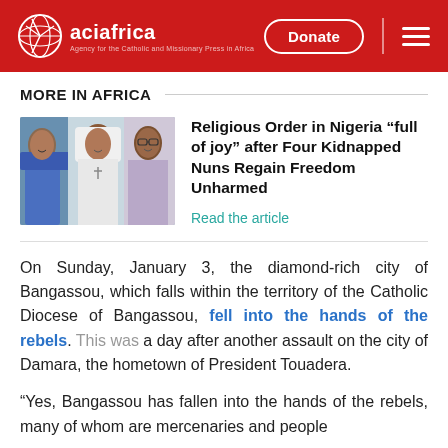aciafrica — Donate — Menu
MORE IN AFRICA
[Figure (photo): Three nuns or religious women smiling, group photo]
Religious Order in Nigeria "full of joy" after Four Kidnapped Nuns Regain Freedom Unharmed
Read the article
On Sunday, January 3, the diamond-rich city of Bangassou, which falls within the territory of the Catholic Diocese of Bangassou, fell into the hands of the rebels. This was a day after another assault on the city of Damara, the hometown of President Touadera.
"Yes, Bangassou has fallen into the hands of the rebels, many of whom are mercenaries and people